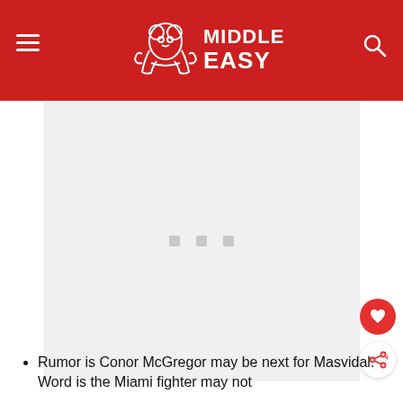Middle Easy
[Figure (other): Advertisement placeholder area with three small gray squares in the center]
Rumor is Conor McGregor may be next for Masvidal. Word is the Miami fighter may not